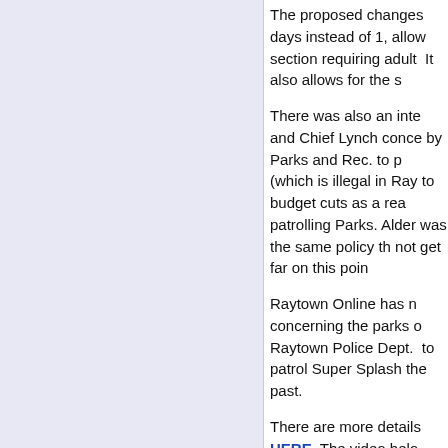The proposed changes days instead of 1, allow section requiring adult  It also allows for the s
There was also an inte and Chief Lynch conce by Parks and Rec. to p (which is illegal in Ray to budget cuts as a rea patrolling Parks. Alder was the same policy th not get far on this poin
Raytown Online has n concerning the parks o Raytown Police Dept. to patrol Super Splash the past.
There are more details HERE  The video belo city's website.
[Figure (photo): Video thumbnail showing a person, partially visible at bottom of page]